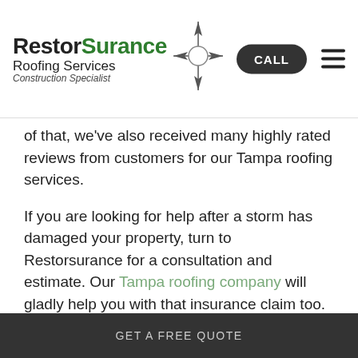[Figure (logo): RestorSurance Roofing Services Construction Specialist logo with compass rose graphic, CALL button, and hamburger menu icon]
of that, we've also received many highly rated reviews from customers for our Tampa roofing services.
If you are looking for help after a storm has damaged your property, turn to Restorsurance for a consultation and estimate. Our Tampa roofing company will gladly help you with that insurance claim too. Give us a call or fill out our online form to get started now.
GET A FREE QUOTE